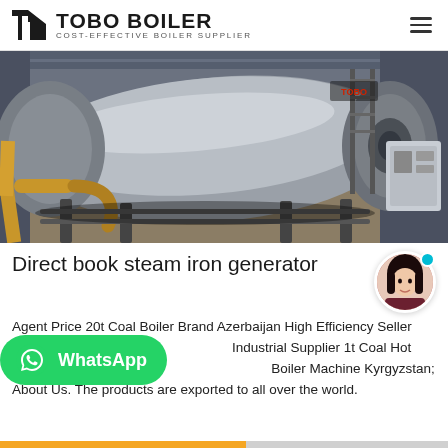TOBO BOILER — COST-EFFECTIVE BOILER SUPPLIER
[Figure (photo): Industrial gas-fired steam boiler in a factory setting, large cylindrical silver metal vessel with yellow/gold pipework and exhaust components in a warehouse.]
Direct book steam iron generator
Agent Price 20t Coal Boiler Brand Azerbaijan High Efficiency Seller Industrial Supplier 1t Coal Hot Water Boiler Machine Kyrgyzstan; About Us. The products are exported to all over the world.